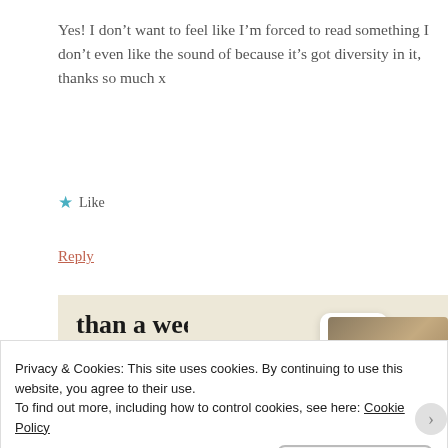Yes! I don’t want to feel like I’m forced to read something I don’t even like the sound of because it’s got diversity in it, thanks so much x
★ Like
Reply
[Figure (screenshot): Advertisement banner with text 'than a week', green 'Explore options' button, and app mockup images on a beige background]
Privacy & Cookies: This site uses cookies. By continuing to use this website, you agree to their use.
To find out more, including how to control cookies, see here: Cookie Policy
Close and accept